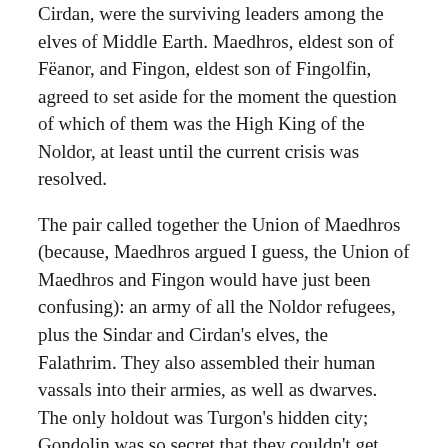Cirdan, were the surviving leaders among the elves of Middle Earth. Maedhros, eldest son of Fëanor, and Fingon, eldest son of Fingolfin, agreed to set aside for the moment the question of which of them was the High King of the Noldor, at least until the current crisis was resolved.
The pair called together the Union of Maedhros (because, Maedhros argued I guess, the Union of Maedhros and Fingon would have just been confusing): an army of all the Noldor refugees, plus the Sindar and Cirdan's elves, the Falathrim. They also assembled their human vassals into their armies, as well as dwarves. The only holdout was Turgon's hidden city; Gondolin was so secret that they couldn't get word to them.
This took quite a while, and in the interest of brevity, I'm going to skip over and summarize a bunch of stuff here. Most notably: the tale of Beren and Luthien. In terms of elvish history it's a fairly significant event, so I make this quick list of high points:
Beren, a human whose father was good buddies with